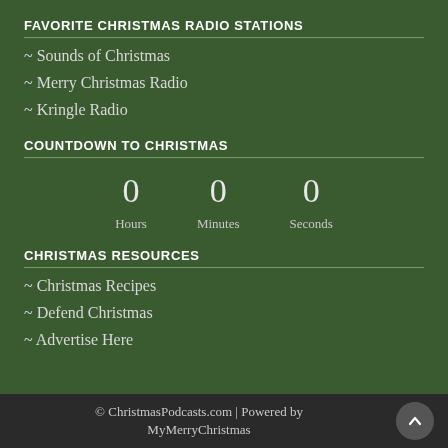FAVORITE CHRISTMAS RADIO STATIONS
~ Sounds of Christmas
~ Merry Christmas Radio
~ Kringle Radio
COUNTDOWN TO CHRISTMAS
0 Hours   0 Minutes   0 Seconds
CHRISTMAS RESOURCES
~ Christmas Recipes
~ Defend Christmas
~ Advertise Here
© ChristmasPodcasts.com | Powered by MyMerryChristmas